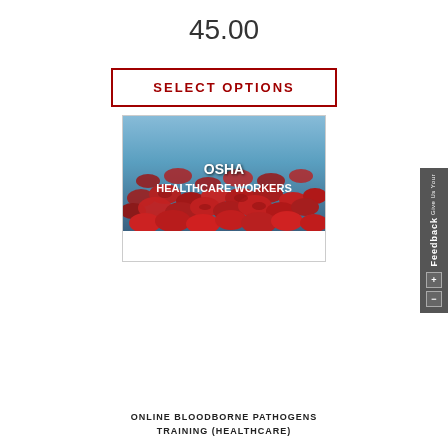45.00
SELECT OPTIONS
[Figure (illustration): Product card showing red blood cells (erythrocytes) on a blue background with white bold text reading 'OSHA HEALTHCARE WORKERS']
ONLINE BLOODBORNE PATHOGENS TRAINING (HEALTHCARE)